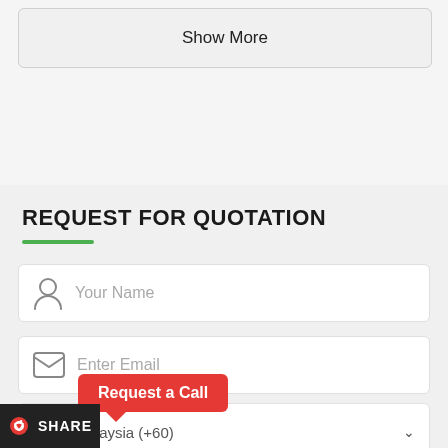Show More
REQUEST FOR QUOTATION
[Figure (screenshot): Your Name input field with person icon and placeholder text]
[Figure (screenshot): Enter Email input field with envelope icon and placeholder text]
[Figure (screenshot): Request a Call red tooltip/button overlay]
[Figure (screenshot): Malaysia (+60) phone dropdown field with globe icon and chevron]
SHARE